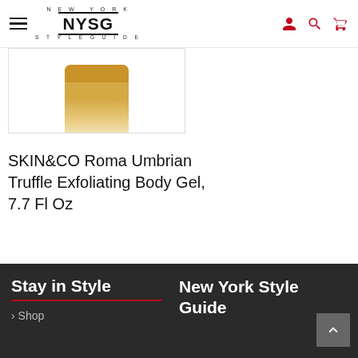NEW YORK STYLE GUIDE (NYSG) — navigation header with hamburger menu and icons
[Figure (photo): Partial product image of SKIN&CO Roma Umbrian Truffle Exfoliating Body Gel bottle, cropped showing top portion with gold/tan cap against white background]
SKIN&CO Roma Umbrian Truffle Exfoliating Body Gel, 7.7 Fl Oz
$18.12
Buy product
Stay in Style | New York Style Guide | Shop